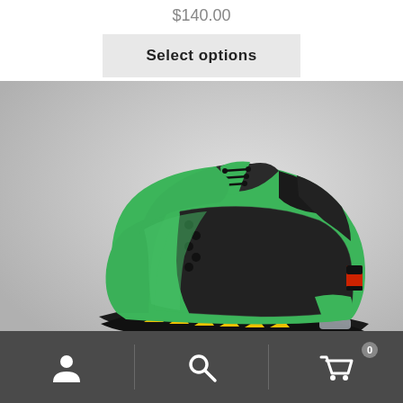$140.00
Select options
[Figure (photo): Green and black Air Jordan 5 sneaker with yellow midsole accents on a gray background]
Navigation bar with account, search, and cart (0) icons